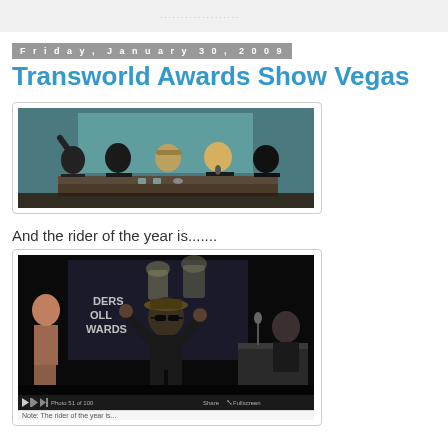Friday, January 30, 2009
Transworld Awards Show Vegas
[Figure (photo): Group of people seated at a panel table on stage at an awards show, one person with arm raised]
And the rider of the year is.......
[Figure (photo): Person on stage at awards show with both arms raised in celebration, wearing hat and sunglasses, large screen visible in background with award logos]